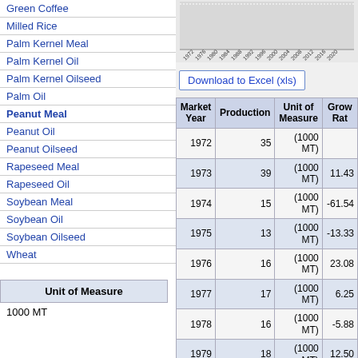Green Coffee
Milled Rice
Palm Kernel Meal
Palm Kernel Oil
Palm Kernel Oilseed
Palm Oil
Peanut Meal
Peanut Oil
Peanut Oilseed
Rapeseed Meal
Rapeseed Oil
Soybean Meal
Soybean Oil
Soybean Oilseed
Wheat
| Unit of Measure |
| --- |
| 1000 MT |
[Figure (continuous-plot): Partial bar/line chart showing production data over years 1972-2020, x-axis labeled Year]
Download to Excel (xls)
| Market Year | Production | Unit of Measure | Growth Rate |
| --- | --- | --- | --- |
| 1972 | 35 | (1000 MT) |  |
| 1973 | 39 | (1000 MT) | 11.43 |
| 1974 | 15 | (1000 MT) | -61.54 |
| 1975 | 13 | (1000 MT) | -13.33 |
| 1976 | 16 | (1000 MT) | 23.08 |
| 1977 | 17 | (1000 MT) | 6.25 |
| 1978 | 16 | (1000 MT) | -5.88 |
| 1979 | 18 | (1000 MT) | 12.50 |